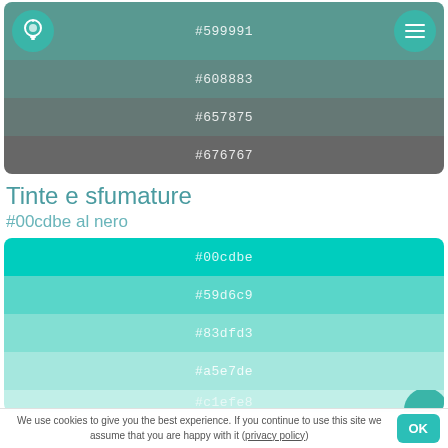[Figure (infographic): Color palette panel showing teal-to-gray gradient strips with hex codes #599991, #608883, #657875, #676767, with lightbulb and menu icons]
Tinte e sfumature
#00cdbe al nero
[Figure (infographic): Color palette panel showing teal gradient strips with hex codes #00cdbe, #59d6c9, #83dfd3, #a5e7de, #c1efc8]
We use cookies to give you the best experience. If you continue to use this site we assume that you are happy with it (privacy policy)